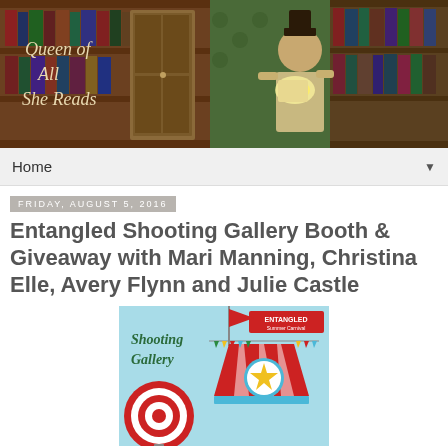[Figure (illustration): Blog banner for 'Queen of All She Reads' showing a fantasy library scene with a woman in a top hat reading a glowing book among bookshelves]
Home ▼
Friday, August 5, 2016
Entangled Shooting Gallery Booth & Giveaway with Mari Manning, Christina Elle, Avery Flynn and Julie Castle
[Figure (illustration): Shooting Gallery carnival-themed graphic with a circus tent, target bullseye, colorful pennant flags, and 'ENTANGLED Summer Carnival' branding]